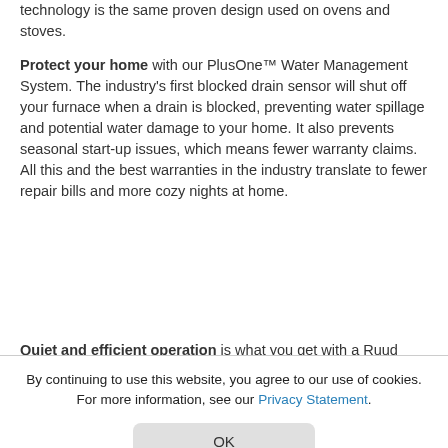technology is the same proven design used on ovens and stoves.
Protect your home with our PlusOne™ Water Management System. The industry's first blocked drain sensor will shut off your furnace when a drain is blocked, preventing water spillage and potential water damage to your home. It also prevents seasonal start-up issues, which means fewer warranty claims. All this and the best warranties in the industry translate to fewer repair bills and more cozy nights at home.
Quiet and efficient operation is what you get with a Ruud
By continuing to use this website, you agree to our use of cookies. For more information, see our Privacy Statement.
OK
Reap Savings Through Maximum Efficiency
The R96T Achiever Plus Series Gas Furnace is not only high-performing, it also saves you energy and money. A 96% AFUE rating also qualifies you for local government and utility...